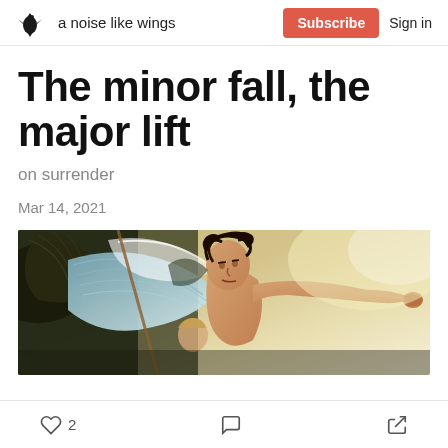a noise like wings  Subscribe  Sign in
The minor fall, the major lift
on surrender
Mar 14, 2021
[Figure (illustration): Classical oil painting showing angels or mythological figures with wings in flight, with dramatic blue and golden tones.]
2  [comment icon]  [share icon]